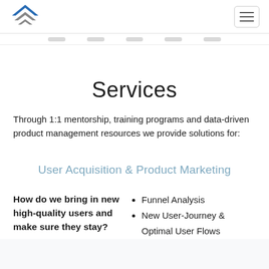Logo and navigation hamburger menu
Services
Through 1:1 mentorship, training programs and data-driven product management resources we provide solutions for:
User Acquisition & Product Marketing
How do we bring in new high-quality users and make sure they stay?
Funnel Analysis
New User-Journey & Optimal User Flows